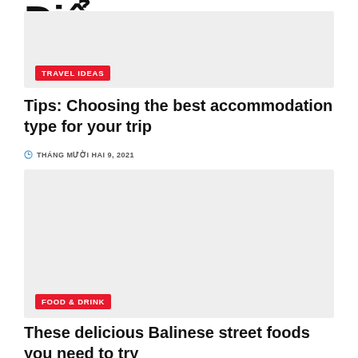Điểm
[Figure (photo): Gray placeholder image card with TRAVEL IDEAS badge]
TRAVEL IDEAS
Tips: Choosing the best accommodation type for your trip
THÁNG MƯỜI HAI 9, 2021
[Figure (photo): Gray placeholder image card with FOOD & DRINK badge]
FOOD & DRINK
These delicious Balinese street foods you need to try